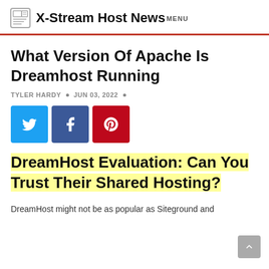X-Stream Host News MENU
What Version Of Apache Is Dreamhost Running
TYLER HARDY • JUN 03, 2022 •
[Figure (other): Social share buttons: Twitter (blue), Facebook (dark blue), Pinterest (red)]
DreamHost Evaluation: Can You Trust Their Shared Hosting?
DreamHost might not be as popular as Siteground and